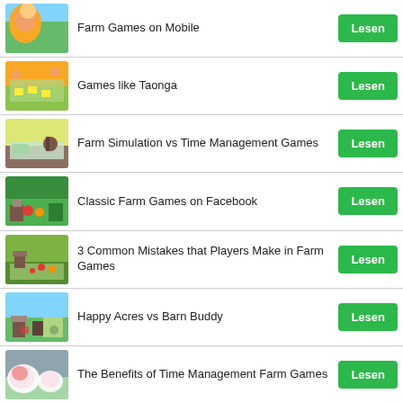Farm Games on Mobile
Games like Taonga
Farm Simulation vs Time Management Games
Classic Farm Games on Facebook
3 Common Mistakes that Players Make in Farm Games
Happy Acres vs Barn Buddy
The Benefits of Time Management Farm Games